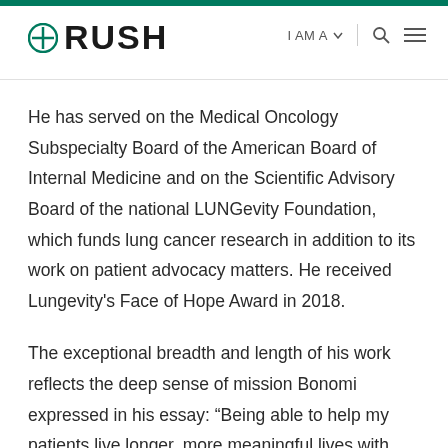RUSH | I AM A | Search | Menu
He has served on the Medical Oncology Subspecialty Board of the American Board of Internal Medicine and on the Scientific Advisory Board of the national LUNGevity Foundation, which funds lung cancer research in addition to its work on patient advocacy matters. He received Lungevity's Face of Hope Award in 2018.
The exceptional breadth and length of his work reflects the deep sense of mission Bonomi expressed in his essay: “Being able to help my patients live longer, more meaningful lives with